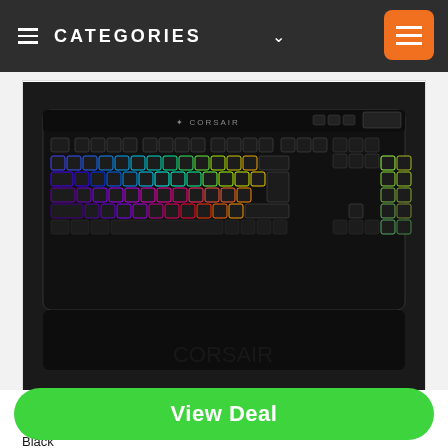≡ CATEGORIES ∨
[Figure (photo): Corsair RGB mechanical gaming keyboard with colorful RGB backlighting (rainbow spectrum across keys), black chassis, full-size layout with numpad, on a dark background.]
ASUS TUF GAMING VG279QM 27″ 1920X1080 IPS 280HZ 1MS HDR400 FREESYNC/G SYNC COMPATIBLE GAMING MONITOR, Black
View Deal